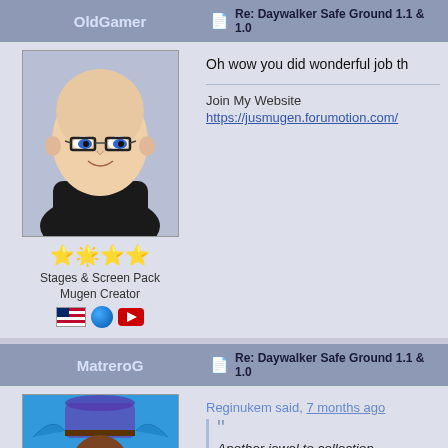OldGamer | Re: Daywalker Safe Ground 1.1 & 1.0
[Figure (illustration): Anime-style bald man avatar with glasses]
★★★★ Stages & Screen Pack Mugen Creator
Oh wow you did wonderful job th
Join My Website https://jusmugen.forumotion.com/
MatreroG | Re: Daywalker Safe Ground 1.1 & 1.0
[Figure (illustration): Pixel art character in blue hat and coat]
Reginukem said, 7 months ago
“Another jewel to collection. Thanks for share pal.